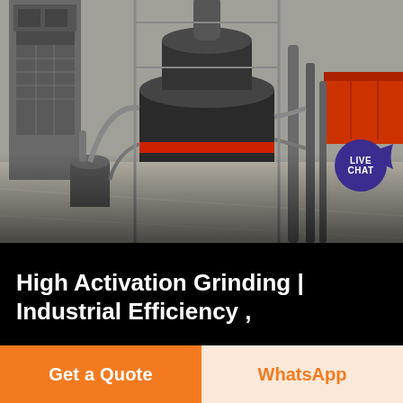[Figure (photo): Aerial/overhead view of heavy industrial grinding mill equipment at a cement or mining facility. Large cylindrical grinder, pipes, scaffolding, industrial machinery visible from above.]
High Activation Grinding | Industrial Efficiency ,
For every ton of clinker replaced by fly ash, granulated blast furnace slag, or other additives using mechanical activation grinding, the amount of energy used for the production of one ton of clinker can be avoided which could be in the rage of 30 – 55 GJ/t clinker in fuel energy and 60 – 100 kWh/t clinker in electricity depending on the technologies used for
Get a Quote | WhatsApp